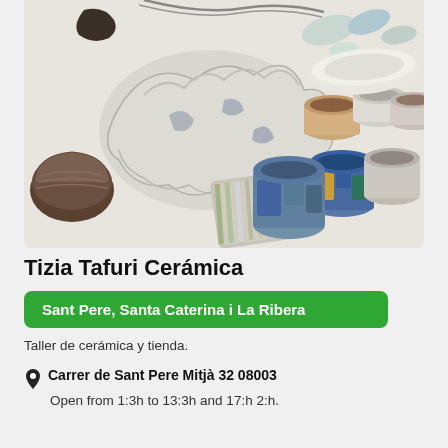[Figure (photo): Ceramic workshop photo showing various handmade ceramic pieces including bowls, plates, cups, and decorative items on a white surface. Items include a large leafy-shaped white plate, striped rectangular dish, colorful small cups and bowls.]
Tizia Tafuri Cerámica
Sant Pere, Santa Caterina i La Ribera
Taller de cerámica y tienda.
Carrer de Sant Pere Mitjà 32 08003
Open from 1:3h to 13:3h and 17:h 2:h.